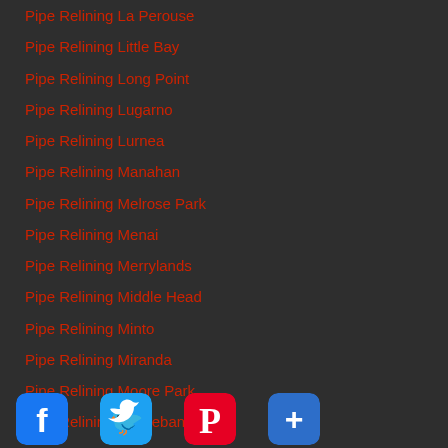Pipe Relining La Perouse
Pipe Relining Little Bay
Pipe Relining Long Point
Pipe Relining Lugarno
Pipe Relining Lurnea
Pipe Relining Manahan
Pipe Relining Melrose Park
Pipe Relining Menai
Pipe Relining Merrylands
Pipe Relining Middle Head
Pipe Relining Minto
Pipe Relining Miranda
Pipe Relining Moore Park
Pipe Relining Moorebank
Pipe Relining Mortlake
Pipe Relining Mosman Bay
Pipe Relining Mount Druitt
Pipe Relining Mulgoa
Pipe Relining Newington